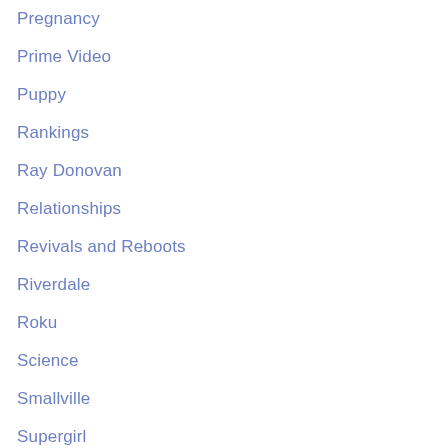Pregnancy
Prime Video
Puppy
Rankings
Ray Donovan
Relationships
Revivals and Reboots
Riverdale
Roku
Science
Smallville
Supergirl
Tech
The 100